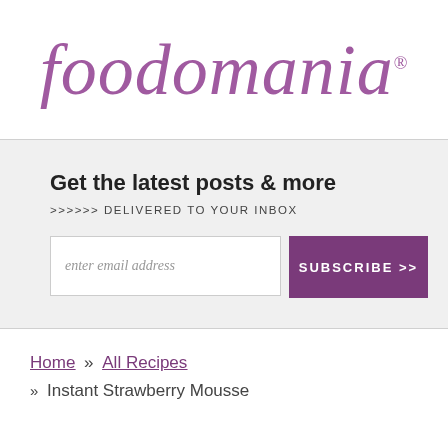foodomania
Get the latest posts & more
>>>>>> DELIVERED TO YOUR INBOX
enter email address | SUBSCRIBE >>
Home » All Recipes
» Instant Strawberry Mousse